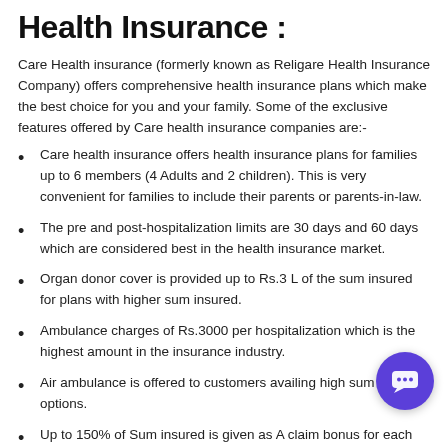Health Insurance :
Care Health insurance (formerly known as Religare Health Insurance Company) offers comprehensive health insurance plans which make the best choice for you and your family. Some of the exclusive features offered by Care health insurance companies are:-
Care health insurance offers health insurance plans for families up to 6 members (4 Adults and 2 children). This is very convenient for families to include their parents or parents-in-law.
The pre and post-hospitalization limits are 30 days and 60 days which are considered best in the health insurance market.
Organ donor cover is provided up to Rs.3 L of the sum insured for plans with higher sum insured.
Ambulance charges of Rs.3000 per hospitalization which is the highest amount in the insurance industry.
Air ambulance is offered to customers availing high sum insured options.
Up to 150% of Sum insured is given as A claim bonus for each